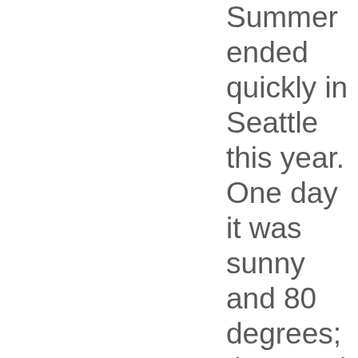Summer ended quickly in Seattle this year. One day it was sunny and 80 degrees; the next it was cloudy and 60. DJ Anomaly's Thursday night Equinox+One